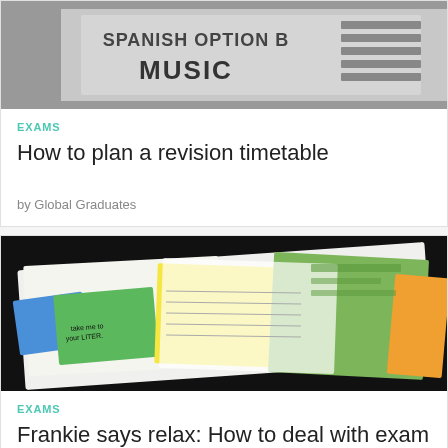[Figure (photo): Grayscale photo of a school timetable board showing text 'SPANISH OPTION B' and 'MUSIC']
EXAMS
How to plan a revision timetable
by Global Graduates
[Figure (photo): Photo of colorful revision notes and sticky notes spread open on a dark background, with handwritten text and highlighters]
EXAMS
Frankie says relax: How to deal with exam stress